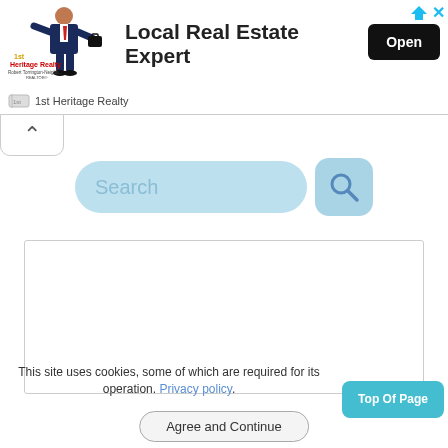[Figure (screenshot): Advertisement banner for 1st Heritage Realty showing logo with man in suit, text 'Local Real Estate Expert', and Open button]
1st Heritage Realty
[Figure (screenshot): Search bar with light blue rounded input field showing 'Search' placeholder and blue search icon button]
[Figure (screenshot): White empty content box with border]
This site uses cookies, some of which are required for its operation. Privacy policy.
Top Of Page
Agree and Continue